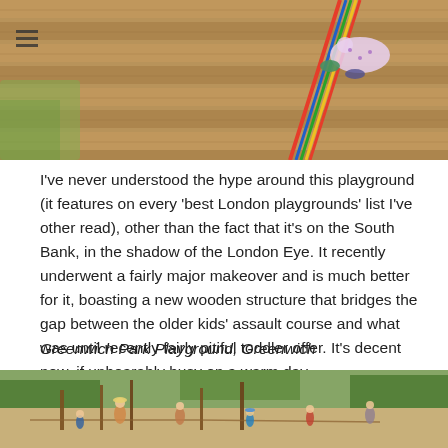[Figure (photo): Child climbing on wooden playground structure with colourful rope, viewed from above at an angle]
I've never understood the hype around this playground (it features on every 'best London playgrounds' list I've other read), other than the fact that it's on the South Bank, in the shadow of the London Eye. It recently underwent a fairly major makeover and is much better for it, boasting a new wooden structure that bridges the gap between the older kids' assault course and what was until recently fairly pitiful toddler offer. It's decent now, if unbearably busy on a warm day.
Greenwich Park Playground, Greenwich
[Figure (photo): Children and adults playing in an outdoor adventure playground with wooden structures, poles, and sand among green trees on a sunny day]